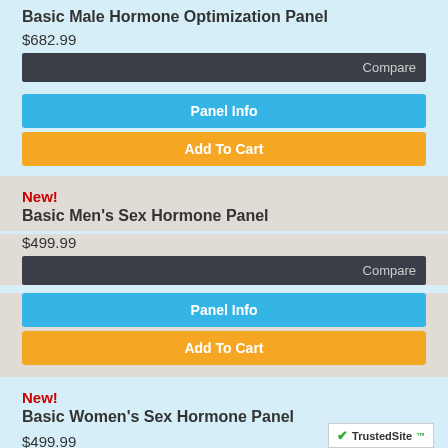Basic Male Hormone Optimization Panel
$682.99
Compare
Panel Info
Add To Cart
New!
Basic Men's Sex Hormone Panel
$499.99
Compare
Panel Info
Add To Cart
New!
Basic Women's Sex Hormone Panel
$499.99
Compare
Panel Info
[Figure (logo): TrustedSite logo with green checkmark]